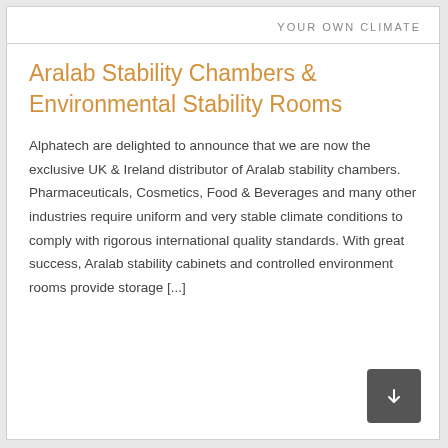YOUR OWN CLIMATE
Aralab Stability Chambers & Environmental Stability Rooms
Alphatech are delighted to announce that we are now the exclusive UK & Ireland distributor of Aralab stability chambers. Pharmaceuticals, Cosmetics, Food & Beverages and many other industries require uniform and very stable climate conditions to comply with rigorous international quality standards. With great success, Aralab stability cabinets and controlled environment rooms provide storage [...]